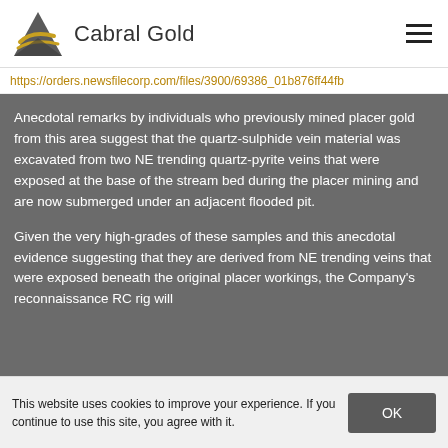Cabral Gold
https://orders.newsfilecorp.com/files/3900/69386_01b876ff44fb
Anecdotal remarks by individuals who previously mined placer gold from this area suggest that the quartz-sulphide vein material was excavated from two NE trending quartz-pyrite veins that were exposed at the base of the stream bed during the placer mining and are now submerged under an adjacent flooded pit.
Given the very high-grades of these samples and this anecdotal evidence suggesting that they are derived from NE trending veins that were exposed beneath the original placer workings, the Company's reconnaissance RC rig will
This website uses cookies to improve your experience. If you continue to use this site, you agree with it.